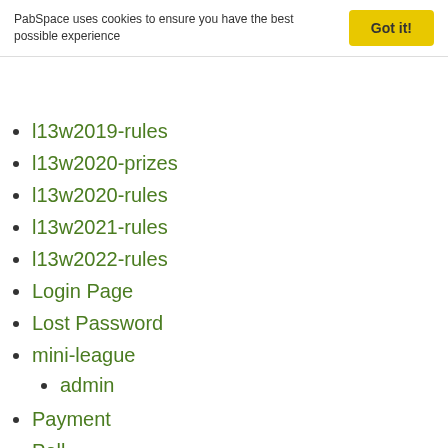PabSpace uses cookies to ensure you have the best possible experience
l13w2019-rules
l13w2020-prizes
l13w2020-rules
l13w2021-rules
l13w2022-rules
Login Page
Lost Password
mini-league
admin
Payment
Poll
poll2005
poll2006
poll2007
poll2008
poll2009